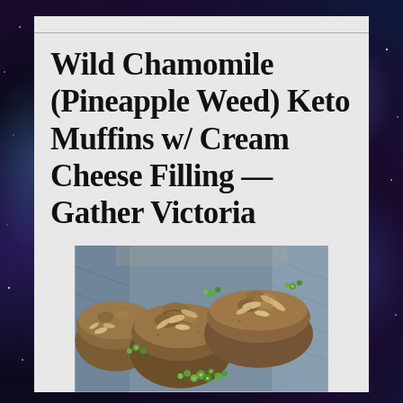Wild Chamomile (Pineapple Weed) Keto Muffins w/ Cream Cheese Filling — Gather Victoria
[Figure (photo): Close-up photo of several keto muffins topped with sliced almonds and garnished with bright green wild chamomile (pineapple weed) flowers, arranged on a blue-grey woven cloth.]